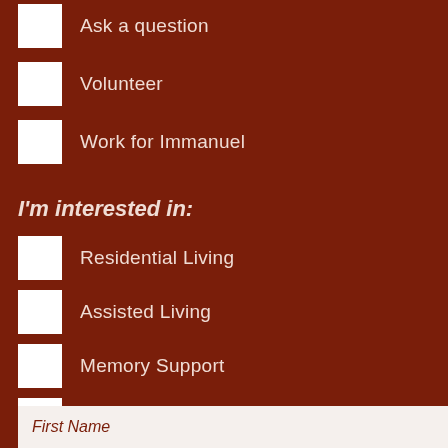Ask a question
Volunteer
Work for Immanuel
I'm interested in:
Residential Living
Assisted Living
Memory Support
Short-Term Rehabilitation
Skilled Nursing Care
Outpatient Therapy
First Name